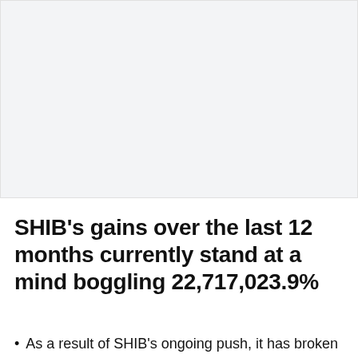[Figure (photo): Light gray placeholder image area at the top of the page]
SHIB's gains over the last 12 months currently stand at a mind boggling 22,717,023.9%
As a result of SHIB's ongoing push, it has broken